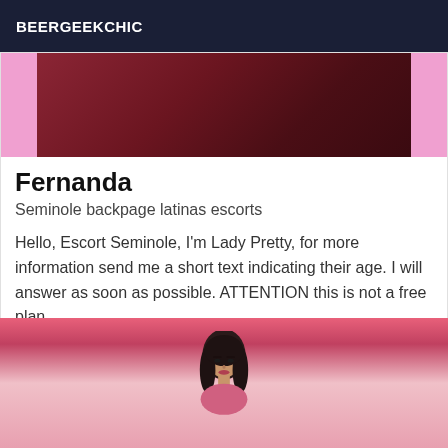BEERGEEKCHIC
[Figure (photo): Partial photo with pink border showing a dark red/maroon background, top portion of a listing card image]
Fernanda
Seminole backpage latinas escorts
Hello, Escort Seminole, I'm Lady Pretty, for more information send me a short text indicating their age. I will answer as soon as possible. ATTENTION this is not a free plan
[Figure (photo): Photo of a woman with long dark hair against a pink/red curtain background]